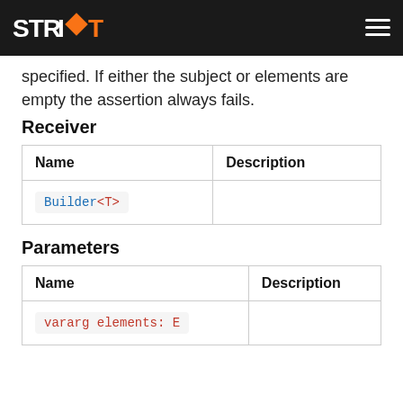STRIKT
specified. If either the subject or elements are empty the assertion always fails.
Receiver
| Name | Description |
| --- | --- |
| Builder<T> |  |
Parameters
| Name | Description |
| --- | --- |
| vararg elements: E |  |